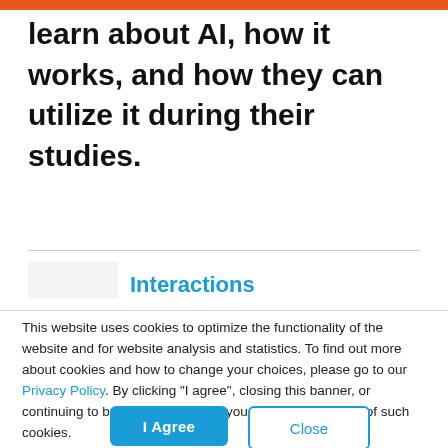learn about AI, how it works, and how they can utilize it during their studies.
Interactions
This website uses cookies to optimize the functionality of the website and for website analysis and statistics. To find out more about cookies and how to change your choices, please go to our Privacy Policy. By clicking "I agree", closing this banner, or continuing to browse our website, you consent to the use of such cookies.